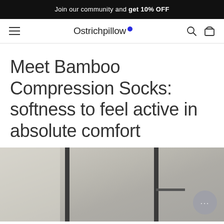Join our community and get 10% OFF
Ostrichpillow
Meet Bamboo Compression Socks: softness to feel active in absolute comfort
[Figure (photo): Partial photo of a person, blurred background with vertical dark bars, shown cropped at the bottom of the page]